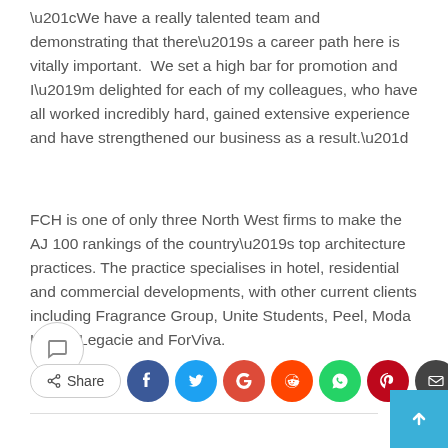“We have a really talented team and demonstrating that there’s a career path here is vitally important. We set a high bar for promotion and I’m delighted for each of my colleagues, who have all worked incredibly hard, gained extensive experience and have strengthened our business as a result.”
FCH is one of only three North West firms to make the AJ 100 rankings of the country’s top architecture practices. The practice specialises in hotel, residential and commercial developments, with other current clients including Fragrance Group, Unite Students, Peel, Moda Living, Legacie and ForViva.
[Figure (infographic): Social sharing buttons row: comment bubble icon button, Share button, then circular social media icons for Facebook (blue), Twitter (light blue), Google (red), Reddit (orange), WhatsApp (green), Pinterest (dark red), and email (dark grey). A scroll-to-top button in blue at bottom right.]